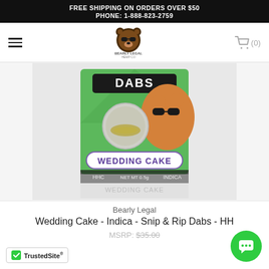FREE SHIPPING ON ORDERS OVER $50
PHONE: 1-888-823-2759
[Figure (logo): Bearly Legal Hemp Co logo with bear mascot wearing sunglasses]
[Figure (photo): Bearly Legal HHC Dabs - Wedding Cake Indica product in green and brown box with bear face graphic, showing a glass container with concentrate inside. Label reads DABS, WEDDING CAKE, HHC, NET MT 0.5g, INDICA.]
Bearly Legal
Wedding Cake - Indica - Snip & Rip Dabs - HH
MSRP: $35.00